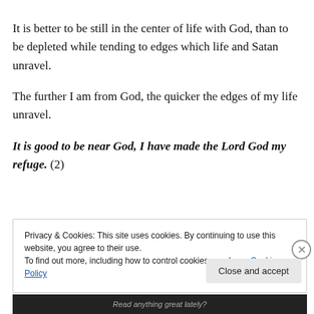It is better to be still in the center of life with God, than to be depleted while tending to edges which life and Satan unravel.
The further I am from God, the quicker the edges of my life unravel.
It is good to be near God, I have made the Lord God my refuge. (2)
Privacy & Cookies: This site uses cookies. By continuing to use this website, you agree to their use.
To find out more, including how to control cookies, see here: Cookie Policy
Close and accept
Read anything great lately?